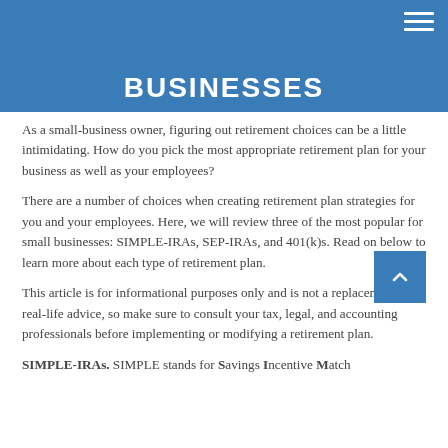BUSINESSES
As a small-business owner, figuring out retirement choices can be a little intimidating. How do you pick the most appropriate retirement plan for your business as well as your employees?
There are a number of choices when creating retirement plan strategies for you and your employees. Here, we will review three of the most popular for small businesses: SIMPLE-IRAs, SEP-IRAs, and 401(k)s. Read on below to learn more about each type of retirement plan.
This article is for informational purposes only and is not a replacement for real-life advice, so make sure to consult your tax, legal, and accounting professionals before implementing or modifying a retirement plan.
SIMPLE-IRAs. SIMPLE stands for Savings Incentive Match